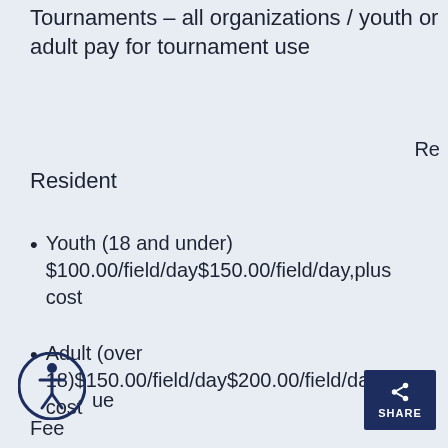Tournaments – all organizations / youth or adult pay for tournament use
Re
Resident
Youth (18 and under) $100.00/field/day$150.00/field/day,plus cost
Adult (over 18)$150.00/field/day$200.00/field/day,plus cost
ue
Fee